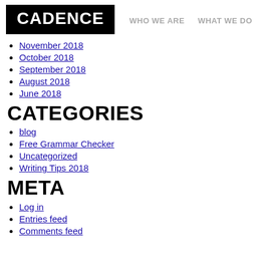[Figure (logo): Cadence logo — white bold text on black background]
WHO WE ARE   WHAT WE DO
November 2018
October 2018
September 2018
August 2018
June 2018
CATEGORIES
blog
Free Grammar Checker
Uncategorized
Writing Tips 2018
META
Log in
Entries feed
Comments feed